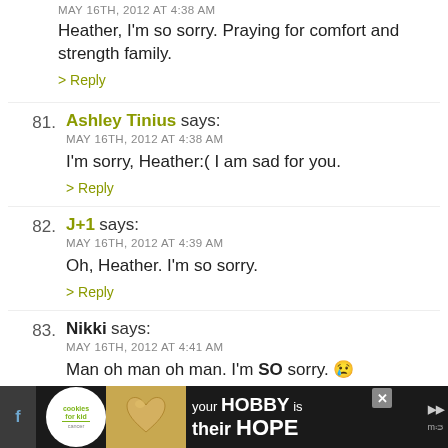MAY 16TH, 2012 AT 4:38 AM
Heather, I’m so sorry. Praying for comfort and strength family.
> Reply
81. Ashley Tinius says:
MAY 16TH, 2012 AT 4:38 AM
I’m sorry, Heather:( I am sad for you.
> Reply
82. J+1 says:
MAY 16TH, 2012 AT 4:39 AM
Oh, Heather. I’m so sorry.
> Reply
83. Nikki says:
MAY 16TH, 2012 AT 4:41 AM
Man oh man oh man. I’m SO sorry. 😢
[Figure (infographic): Advertisement banner at bottom: cookies for kid cancer logo, image of heart-shaped cookie, text 'your HOBBY is their HOPE' with close button and social icons]